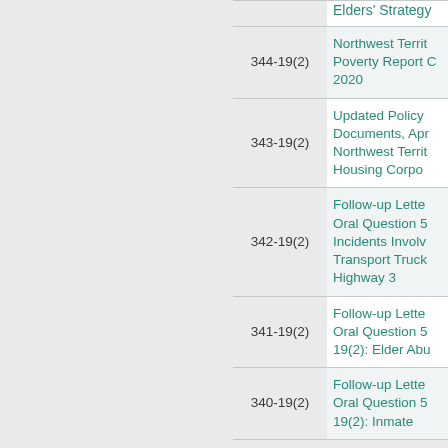| Number | Title |
| --- | --- |
|  | Elders' Strategy |
| 344-19(2) | Northwest Territories Poverty Report Card 2020 |
| 343-19(2) | Updated Policy Documents, April ... Northwest Territories Housing Corporation |
| 342-19(2) | Follow-up Letter Oral Question 57... Incidents Involving Transport Trucks... Highway 3 |
| 341-19(2) | Follow-up Letter Oral Question 57... 19(2): Elder Abuse |
| 340-19(2) | Follow-up Letter Oral Question 56... 19(2): Inmate... |